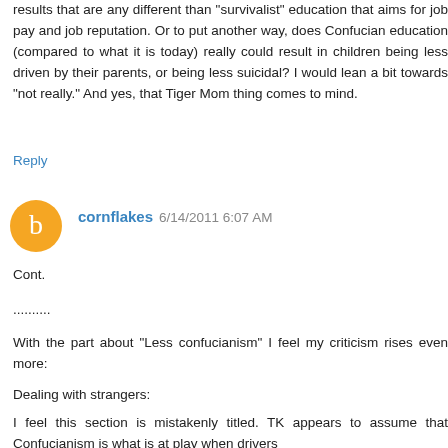results that are any different than "survivalist" education that aims for job pay and job reputation. Or to put another way, does Confucian education (compared to what it is today) really could result in children being less driven by their parents, or being less suicidal? I would lean a bit towards "not really." And yes, that Tiger Mom thing comes to mind.
Reply
cornflakes 6/14/2011 6:07 AM
Cont.
..........
With the part about "Less confucianism" I feel my criticism rises even more:
Dealing with strangers:
I feel this section is mistakenly titled. TK appears to assume that Confucianism is what is at play when drivers